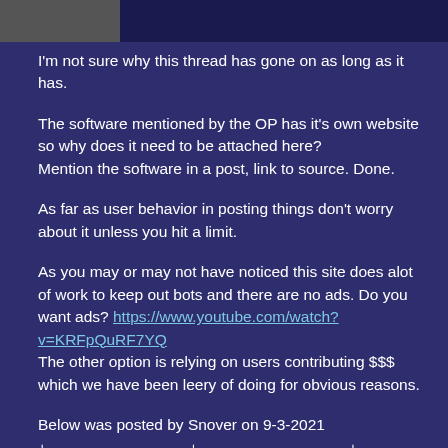[Figure (other): Dark header bar with avatar/profile image placeholder on the left]
I'm not sure why this thread has gone on as long as it has.
The software mentioned by the OP has it's own website so why does it need to be attached here?
Mention the software in a post, link to source. Done.
As far as user behavior in posting things don't worry about it unless you hit a limit.
As you may or may not have noticed this site does alot of work to keep out bots and there are no ads. Do you want ads? https://www.youtube.com/watch?v=KRFpQuRF7YQ
The other option is relying on users contributing $$$ which we have been leery of doing for obvious reasons.
Below was posted by Snover on 9-3-2021
+-----------------+------------------+
| year  uploaded | files   in  mb |